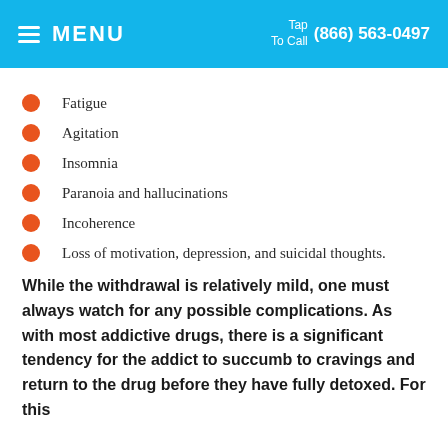MENU   Tap To Call (866) 563-0497
Fatigue
Agitation
Insomnia
Paranoia and hallucinations
Incoherence
Loss of motivation, depression, and suicidal thoughts.
While the withdrawal is relatively mild, one must always watch for any possible complications. As with most addictive drugs, there is a significant tendency for the addict to succumb to cravings and return to the drug before they have fully detoxed. For this